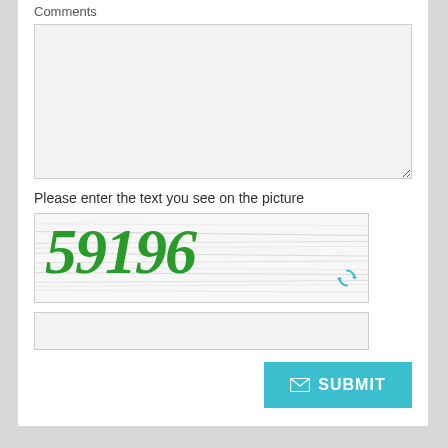Comments
[Figure (other): Empty textarea input box for comments]
Please enter the text you see on the picture
[Figure (other): CAPTCHA image showing the text '59196' in green decorative font on a white background with grey horizontal lines, with a refresh icon in the bottom right]
[Figure (other): Empty text input field for entering CAPTCHA text]
SUBMIT